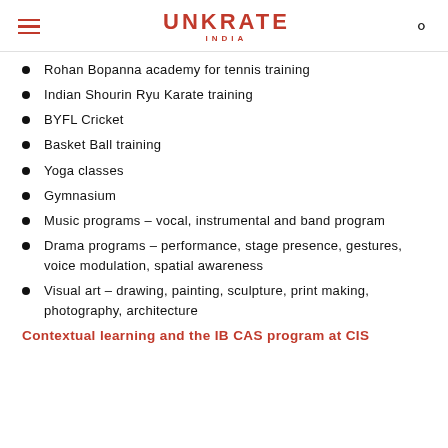UNKRATE INDIA
Rohan Bopanna academy for tennis training
Indian Shourin Ryu Karate training
BYFL Cricket
Basket Ball training
Yoga classes
Gymnasium
Music programs – vocal, instrumental and band program
Drama programs – performance, stage presence, gestures, voice modulation, spatial awareness
Visual art – drawing, painting, sculpture, print making, photography, architecture
Contextual learning and the IB CAS program at CIS